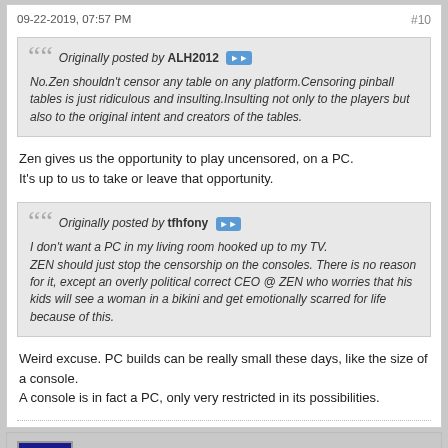09-22-2019, 07:57 PM   #10
Originally posted by ALH2012
No.Zen shouldn't censor any table on any platform.Censoring pinball tables is just ridiculous and insulting.Insulting not only to the players but also to the original intent and creators of the tables.
Zen gives us the opportunity to play uncensored, on a PC.
It's up to us to take or leave that opportunity.
Originally posted by tfhfony
I don't want a PC in my living room hooked up to my TV.
ZEN should just stop the censorship on the consoles. There is no reason for it, except an overly political correct CEO @ ZEN who worries that his kids will see a woman in a bikini and get emotionally scarred for life because of this.
Weird excuse. PC builds can be really small these days, like the size of a console.
A console is in fact a PC, only very restricted in its possibilities.
cantankerous--
Senior Member